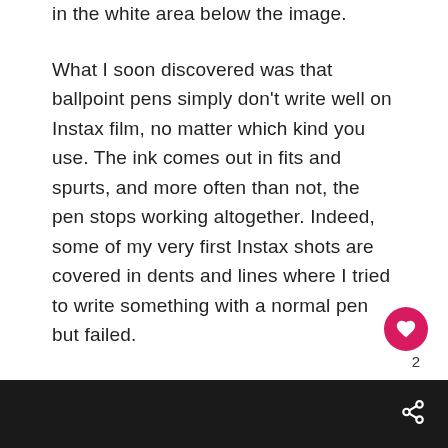in the white area below the image.
What I soon discovered was that ballpoint pens simply don't write well on Instax film, no matter which kind you use. The ink comes out in fits and spurts, and more often than not, the pen stops working altogether. Indeed, some of my very first Instax shots are covered in dents and lines where I tried to write something with a normal pen but failed.